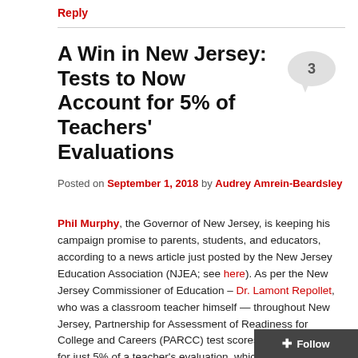Reply
A Win in New Jersey: Tests to Now Account for 5% of Teachers' Evaluations
Posted on September 1, 2018 by Audrey Amrein-Beardsley
Phil Murphy, the Governor of New Jersey, is keeping his campaign promise to parents, students, and educators, according to a news article just posted by the New Jersey Education Association (NJEA; see here). As per the New Jersey Commissioner of Education – Dr. Lamont Repollet, who was a classroom teacher himself — throughout New Jersey, Partnership for Assessment of Readiness for College and Careers (PARCC) test scores will now account for just 5% of a teacher's evaluation, which is down from 30% as mandated for approxunatelt five years prior by both Murphy's and Repollet's predecessors.
Follow